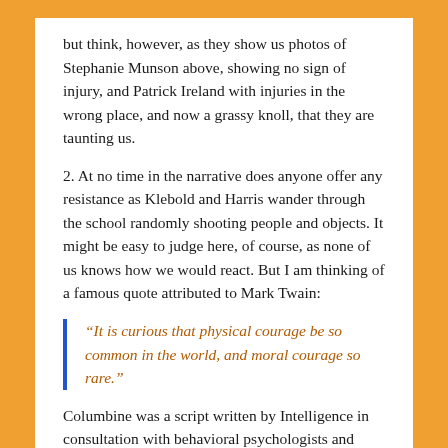but think, however, as they show us photos of Stephanie Munson above, showing no sign of injury, and Patrick Ireland with injuries in the wrong place, and now a grassy knoll, that they are taunting us.
2. At no time in the narrative does anyone offer any resistance as Klebold and Harris wander through the school randomly shooting people and objects. It might be easy to judge here, of course, as none of us knows how we would react. But I am thinking of a famous quote attributed to Mark Twain:
“It is curious that physical courage be so common in the world, and moral courage so rare.”
Columbine was a script written by Intelligence in consultation with behavioral psychologists and designed to push appropriate buttons. While many people would indeed cower in fear and tremble hoping for random fate to